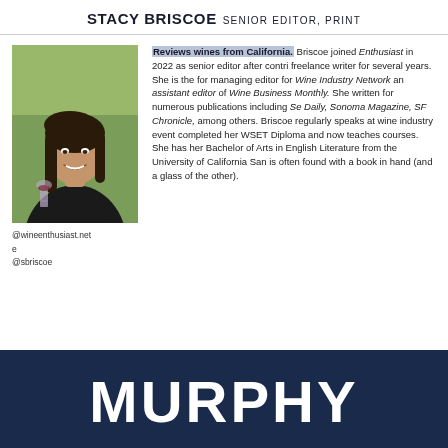STACY BRISCOE SENIOR EDITOR, PRINT
[Figure (photo): Headshot photo of Stacy Briscoe, a woman with long dark hair wearing a black top, holding a wine glass, outdoors with green background]
Reviews wines from California. Briscoe joined Enthusiast in 2022 as senior editor after contributing as a freelance writer for several years. She is the former managing editor for Wine Industry Network and assistant editor of Wine Business Monthly. She has written for numerous publications including Se Daily, Sonoma Magazine, SF Chronicle, among others. Briscoe regularly speaks at wine industry events, completed her WSET Diploma and now teaches courses. She has her Bachelor of Arts in English Literature from the University of California San and is often found with a book in hand (and a glass of the other).
@wineenthusiast.net
e
@sbriscoe
[Figure (illustration): Dark navy blue banner with large white bold text reading MURPHY]